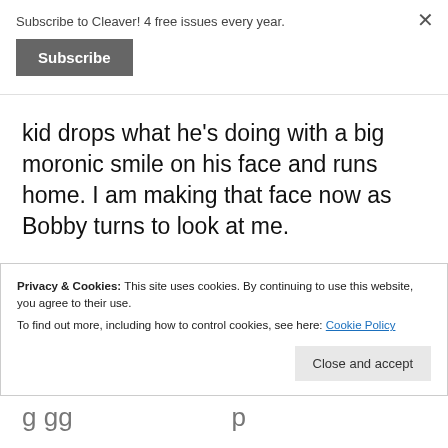Subscribe to Cleaver! 4 free issues every year.
Subscribe
× (close button)
kid drops what he's doing with a big moronic smile on his face and runs home. I am making that face now as Bobby turns to look at me.
“Hey, Anthony, it’s Prince spaghetti day! Come on, I got a barrel of macaroni for you! Open up those overalls, Tony, because you’re gonna
Privacy & Cookies: This site uses cookies. By continuing to use this website, you agree to their use.
To find out more, including how to control cookies, see here: Cookie Policy
Close and accept